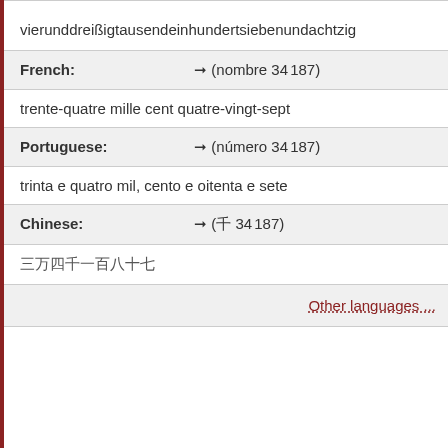vierunddreißigtausendeinhundertsiebenundachtzig
French: ➞ (nombre 34 187)
trente-quatre mille cent quatre-vingt-sept
Portuguese: ➞ (número 34 187)
trinta e quatro mil, cento e oitenta e sete
Chinese: ➞ (千 34 187)
三万四千一百八十七
Other languages ...